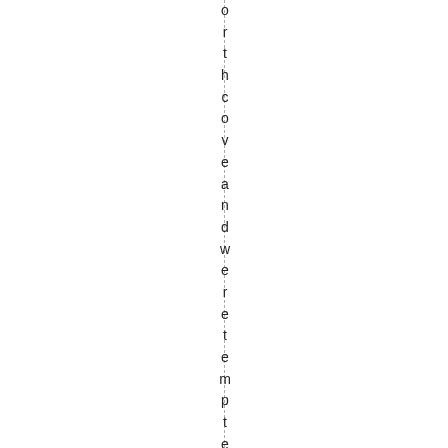orthcoveandweretemptedtostopfo